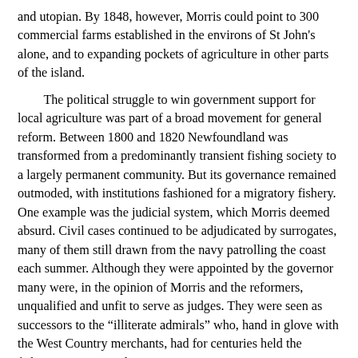and utopian. By 1848, however, Morris could point to 300 commercial farms established in the environs of St John’s alone, and to expanding pockets of agriculture in other parts of the island.

The political struggle to win government support for local agriculture was part of a broad movement for general reform. Between 1800 and 1820 Newfoundland was transformed from a predominantly transient fishing society to a largely permanent community. But its governance remained outmoded, with institutions fashioned for a migratory fishery. One example was the judicial system, which Morris deemed absurd. Civil cases continued to be adjudicated by surrogates, many of them still drawn from the navy patrolling the coast each summer. Although they were appointed by the governor many were, in the opinion of Morris and the reformers, unqualified and unfit to serve as judges. They were seen as successors to the “illiterate admirals” who, hand in glove with the West Country merchants, had for centuries held the fishermen in servitude.